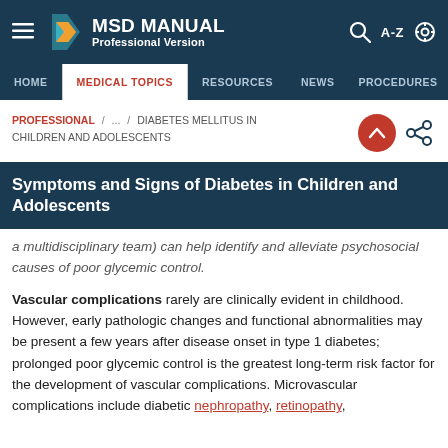MSD MANUAL Professional Version
HOME | MEDICAL TOPICS | RESOURCES | NEWS | PROCEDURES
PROFESSIONAL / ... / DIABETES MELLITUS IN CHILDREN AND ADOLESCENTS
Symptoms and Signs of Diabetes in Children and Adolescents
a multidisciplinary team) can help identify and alleviate psychosocial causes of poor glycemic control.
Vascular complications rarely are clinically evident in childhood. However, early pathologic changes and functional abnormalities may be present a few years after disease onset in type 1 diabetes; prolonged poor glycemic control is the greatest long-term risk factor for the development of vascular complications. Microvascular complications include diabetic nephropathy, retinopathy,